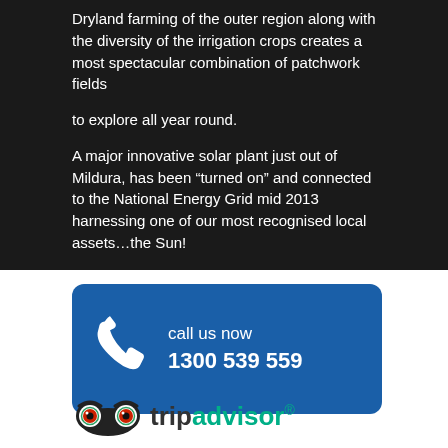Dryland farming of the outer region along with the diversity of the irrigation crops creates a most spectacular combination of patchwork fields
to explore all year round.
A major innovative solar plant just out of Mildura, has been “turned on” and connected to the National Energy Grid mid 2013 harnessing one of our most recognised local assets…the Sun!
Discover Mildura
[Figure (infographic): Blue rounded rectangle banner with white phone icon on the left, text 'call us now' and '1300 539 559' in white on the right]
[Figure (logo): TripAdvisor logo with owl eyes icon and tripadvisor text in black and green]